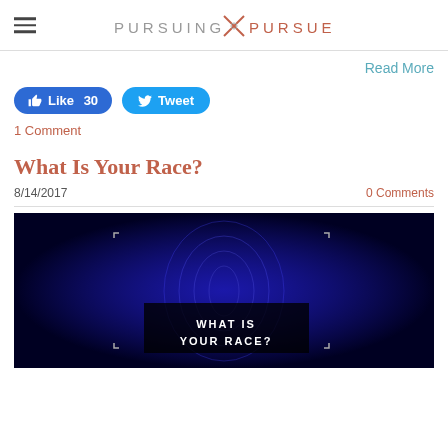PURSUING × PURSUER
Read More
Like 30   Tweet
1 Comment
What Is Your Race?
8/14/2017    0 Comments
[Figure (photo): Dark blue background with a fingerprint graphic and a black overlay box reading WHAT IS YOUR RACE? in white uppercase letters]